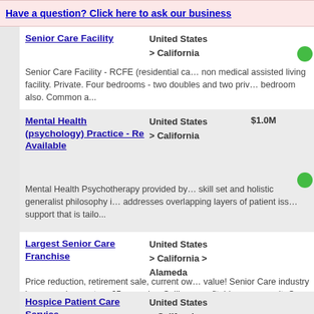Have a question? Click here to ask our business
Senior Care Facility
United States > California
Senior Care Facility - RCFE (residential ca… non medical assisted living facility. Private. Four bedrooms - two doubles and two priv… bedroom also. Common a...
Mental Health (psychology) Practice - Re Available
United States > California
$1.0M
Mental Health Psychotherapy provided by… skill set and holistic generalist philosophy i… addresses overlapping layers of patient iss… support that is tailo...
Largest Senior Care Franchise
United States > California > Alameda
Price reduction, retirement sale, current ow… value! Senior Care industry is on a major u… turn 65 everyday. Selling a profitable, non-… unit. Our business fo...
Hospice Patient Care Service
United States > California > Burbank